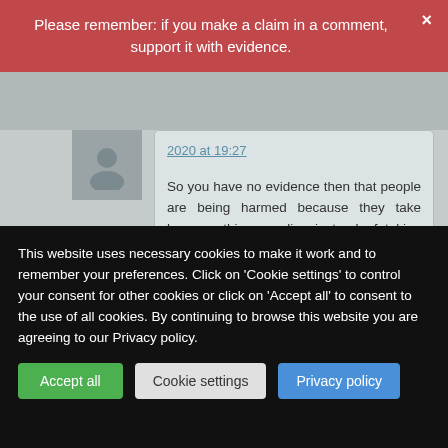Please remember: if you make a claim in a comment, support it with evidence.
2020 at 19:27
So you have no evidence then that people are being harmed because they take homeopathic remedies instead of taking conventional medicines?
David B on Sunday 29 November 2020 at 20:40
This website uses necessary cookies to make it work and to remember your preferences. Click on 'Cookie settings' to control your consent for other cookies or click on 'Accept all' to consent to the use of all cookies. By continuing to browse this website you are agreeing to our Privacy policy.